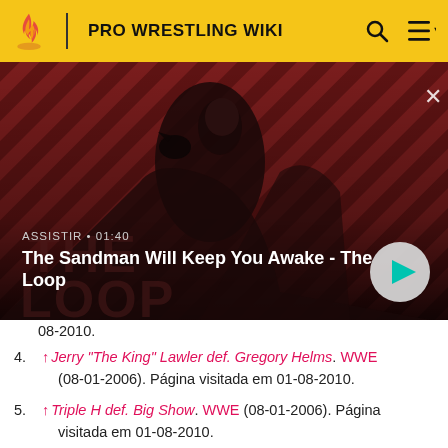PRO WRESTLING WIKI
[Figure (screenshot): Video thumbnail showing a dark-cloaked figure with a raven on shoulder against red and dark striped background. Text overlay: ASSISTIR • 01:40 / The Sandman Will Keep You Awake - The Loop. Play button on right. Close (X) button top right.]
08-2010.
4. ↑ Jerry "The King" Lawler def. Gregory Helms. WWE (08-01-2006). Página visitada em 01-08-2010.
5. ↑ Triple H def. Big Show. WWE (08-01-2006). Página visitada em 01-08-2010.